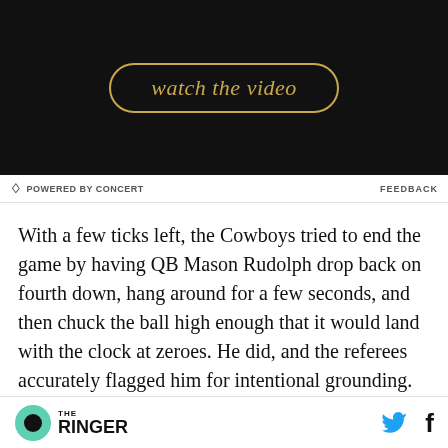[Figure (screenshot): Dark video thumbnail with gold 'watch the video' button in a rounded rectangle border]
POWERED BY CONCERT   FEEDBACK
With a few ticks left, the Cowboys tried to end the game by having QB Mason Rudolph drop back on fourth down, hang around for a few seconds, and then chuck the ball high enough that it would land with the clock at zeroes. He did, and the referees accurately flagged him for intentional grounding.
THE RINGER